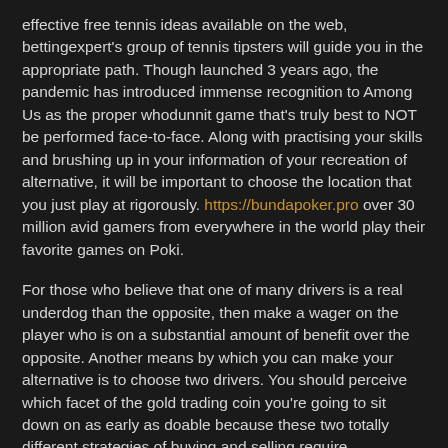effective free tennis ideas available on the web, bettingexpert's group of tennis tipsters will guide you in the appropriate path. Though launched 3 years ago, the pandemic has introduced immense recognition to Among Us as the proper whodunnit game that's truly best to NOT be performed face-to-face. Along with practising your skills and brushing up in your information of your recreation of alternative, it will be important to choose the location that you just play at rigorously. https://bundapoker.pro over 30 million avid gamers from everywhere in the world play their favorite games on Poki.
For those who believe that one of many drivers is a real underdog than the opposite, then make a wager on the player who is on a substantial amount of benefit over the opposite. Another means by which you can make your alternative is to choose two drivers. You should perceive which facet of the gold trading coin you're going to sit down on as early as doable because these two totally different strategies of buying and selling require significantly different strategies. Parental guidance is extremely really helpful in order that kids will have an entertainment that are beneficial for the nice of them. Nevertheless, it also provides a method to maintain us busy when we want a while for our leisure with the help of the free online games. Searching for extra at-home entertainment? Simply looking on the vehicles exhibited in the competitions makes the eyes of